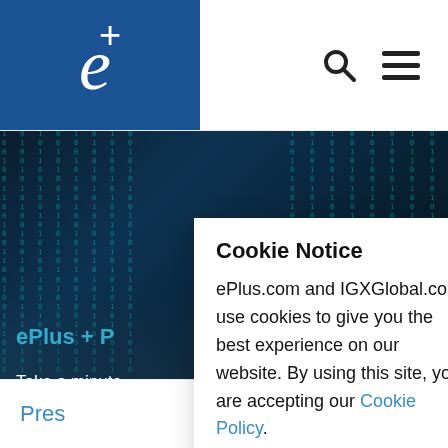[Figure (logo): ePlus logo: blue square with italic white 'e' and white '+' symbol]
[Figure (photo): Dark cityscape with digital matrix binary rain overlay, featuring lit city towers at night with teal/cyan binary numbers cascading down]
ePlus + P
Take a minute
ouncements.
Cookie Notice
ePlus.com and IGXGlobal.com use cookies to give you the best experience on our website. By using this site, you are accepting our Cookie Policy.
I acknowledge
Pres